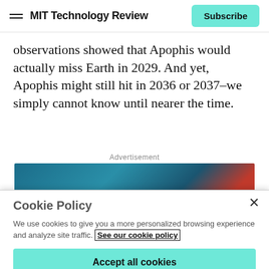MIT Technology Review
observations showed that Apophis would actually miss Earth in 2029. And yet, Apophis might still hit in 2036 or 2037–we simply cannot know until nearer the time.
Advertisement
[Figure (illustration): Advertisement banner with blue and dark teal gradient background with a red accent element]
Cookie Policy
We use cookies to give you a more personalized browsing experience and analyze site traffic. See our cookie policy
Accept all cookies
Cookies settings